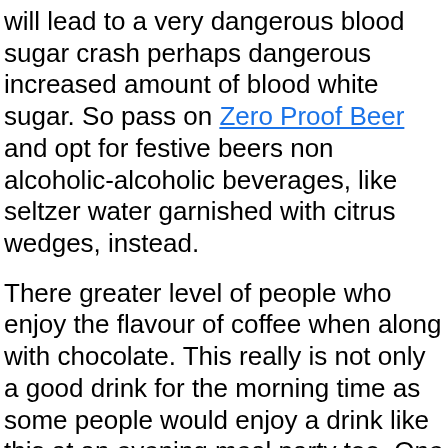will lead to a very dangerous blood sugar crash perhaps dangerous increased amount of blood white sugar. So pass on Zero Proof Beer and opt for festive beers non alcoholic-alcoholic beverages, like seltzer water garnished with citrus wedges, instead.
There greater level of people who enjoy the flavour of coffee when along with chocolate. This really is not only a good drink for the morning time as some people would enjoy a drink like this at an evening meal party too. One very good non alcoholic cocktail can be always to mix the flavour of chocolate with espresso. This will create a drink which is the perfect associated with bitter and sweet. Adding a little cream one more a good idea to make sure that you even blossom are that will enjoy a fun cocktail and feel as they are actually a part of the fun along with the grown ups.